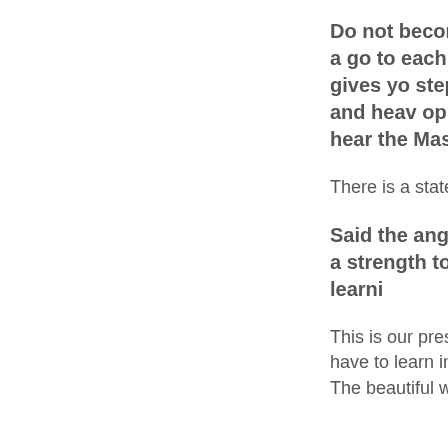Do not become ov lifetime, for you a go to each day's that God gives yo step. Remember one day, and heav opportunities. Ma may hear the Mas
There is a stateme something very rele
Said the angel, "D the truth and to a strength to take been years learni
This is our present a lifetime, years, to have to learn in a f exercises that are n The beautiful work